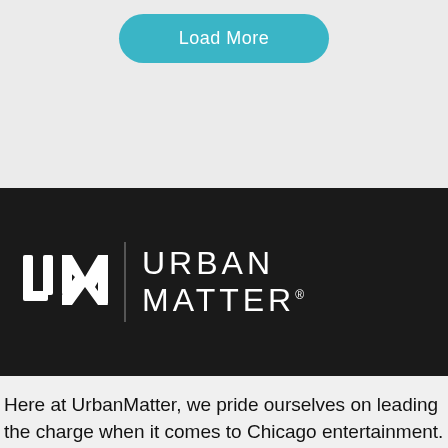[Figure (screenshot): Load More button — teal/cyan rounded rectangle button with white text 'Load More' on a light gray background]
[Figure (logo): Urban Matter logo on dark background — stylized UM monogram and vertical bar with URBAN MATTER wordmark in white uppercase thin letters]
Here at UrbanMatter, we pride ourselves on leading the charge when it comes to Chicago entertainment. Need ideas? News? Info? From venues, restaurants, and bars to events, festivals, and music — we've got you covered.
[Figure (screenshot): BitLife mobile game advertisement banner with colorful emojis and yellow BitLife logo text on red background, with blue scroll-to-top arrow button]